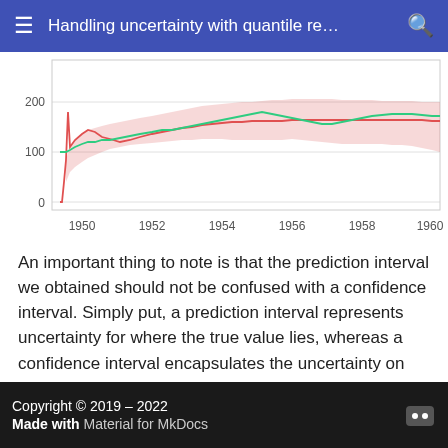Handling uncertainty with quantile re…
[Figure (continuous-plot): Line chart showing time series from approximately 1948 to 1961. A green line (actual values) and a red line (predicted values) with a pink shaded prediction interval band. Y-axis ranges from 0 to 200. The red line starts near 0, jumps sharply up to ~100 around 1948, then both lines trend upward to ~150-200. The pink shaded band widens over time representing the prediction interval uncertainty.]
An important thing to note is that the prediction interval we obtained should not be confused with a confidence interval. Simply put, a prediction interval represents uncertainty for where the true value lies, whereas a confidence interval encapsulates the uncertainty on the prediction. You can find out more by reading this CrossValidated post.
Copyright © 2019 – 2022
Made with Material for MkDocs